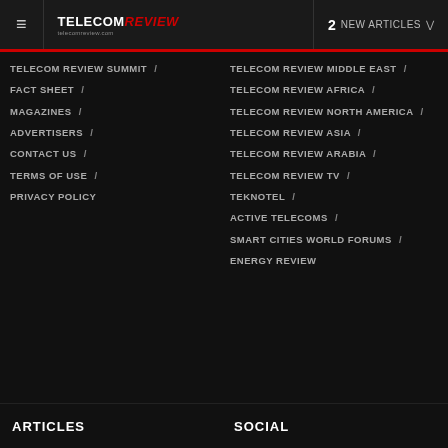≡  TELECOM Review  2 NEW ARTICLES ∨
TELECOM REVIEW SUMMIT /
FACT SHEET /
MAGAZINES /
ADVERTISERS /
CONTACT US /
TERMS OF USE /
PRIVACY POLICY
TELECOM REVIEW MIDDLE EAST /
TELECOM REVIEW AFRICA /
TELECOM REVIEW NORTH AMERICA /
TELECOM REVIEW ASIA /
TELECOM REVIEW ARABIA /
TELECOM REVIEW TV /
TEKNOTEL /
ACTIVE TELECOMS /
SMART CITIES WORLD FORUMS /
ENERGY REVIEW
ARTICLES
SOCIAL